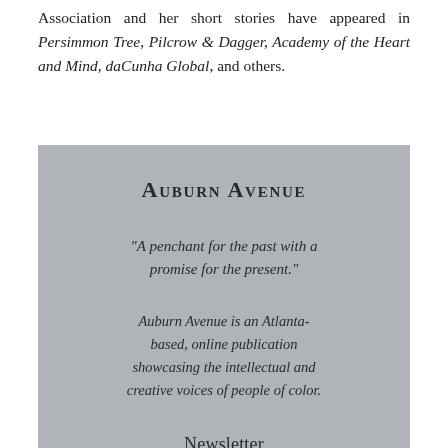Association and her short stories have appeared in Persimmon Tree, Pilcrow & Dagger, Academy of the Heart and Mind, daCunha Global, and others.
[Figure (other): Gray promotional box for Auburn Avenue publication containing title, tagline, description, and Newsletter label]